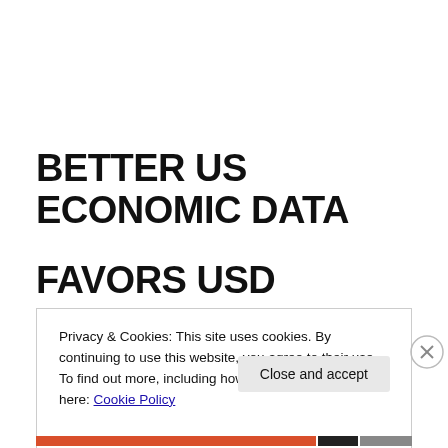BETTER US ECONOMIC DATA FAVORS USD
Privacy & Cookies: This site uses cookies. By continuing to use this website, you agree to their use.
To find out more, including how to control cookies, see here: Cookie Policy
Close and accept